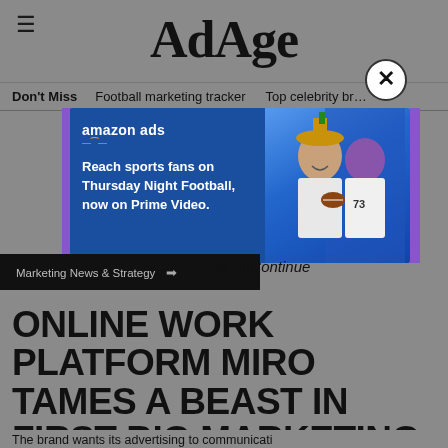AdAge
Don't Miss   Football marketing tracker   Top celebrity br…
[Figure (screenshot): Amazon Ads banner advertisement: 'Reach sports fans on Thursday Night Football, now on Prime Video.' with two people watching sports on the right side.]
Scroll to Continue
Marketing News & Strategy
ONLINE WORK PLATFORM MIRO TAMES A BEAST IN FIRST BIG MARKETING PUSH
The brand wants its advertising to communicate competition…